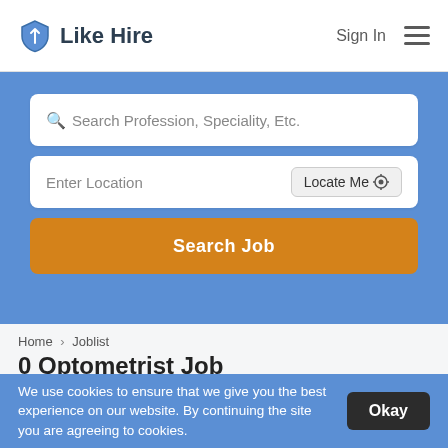Like Hire — Sign In
Search Profession, Speciality, Etc.
Enter Location — Locate Me
Search Job
Home > Joblist
0 Optometrist Job
We use cookies to ensure that we give you the best experience on our website. By continuing the site you are agreeing to cookies.